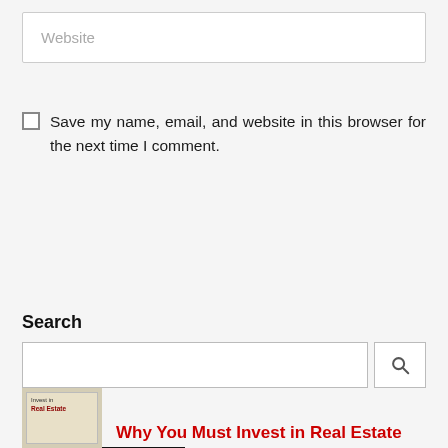Website
Save my name, email, and website in this browser for the next time I comment.
Post Comment »
Search
Why You Must Invest in Real Estate